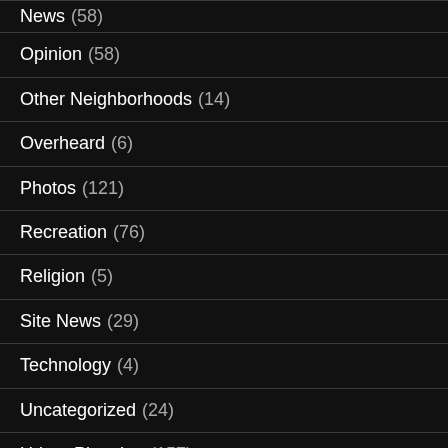News (58)
Opinion (58)
Other Neighborhoods (14)
Overheard (6)
Photos (121)
Recreation (76)
Religion (5)
Site News (29)
Technology (4)
Uncategorized (24)
Urban Planning (157)
Volunteering and Giving (90)
Weather (46)